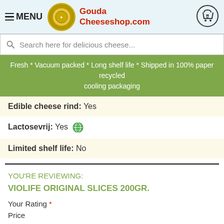≡ MENU  Gouda Cheeseshop.com
Search here for delicious cheese...
Fresh * Vacuum packed * Long shelf life * Shipped in 100% paper recycled cooling packaging
Edible cheese rind:  Yes
Lactosevrij:  Yes
Limited shelf life:  No
YOU'RE REVIEWING:
VIOLIFE ORIGINAL SLICES 200GR.
Your Rating *
Price
[Figure (other): Five empty star rating icons for Price rating]